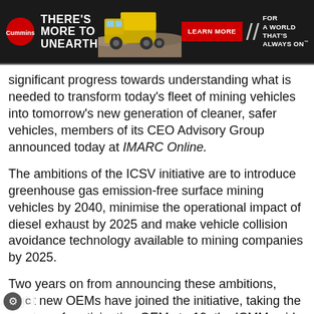[Figure (other): Cummins advertisement banner: dark background with Cummins logo, text 'THERE'S MORE TO UNEARTH', image of a large yellow mining truck, red 'LEARN MORE' button, double slash divider, and text 'FOR A WORLD THAT'S ALWAYS ON']
significant progress towards understanding what is needed to transform today's fleet of mining vehicles into tomorrow's new generation of cleaner, safer vehicles, members of its CEO Advisory Group announced today at IMARC Online.
The ambitions of the ICSV initiative are to introduce greenhouse gas emission-free surface mining vehicles by 2040, minimise the operational impact of diesel exhaust by 2025 and make vehicle collision avoidance technology available to mining companies by 2025.
Two years on from announcing these ambitions, eight new OEMs have joined the initiative, taking the number of participating OEMs to 19, the ICMM said. This includes 3MTech, Behault, Future Digital